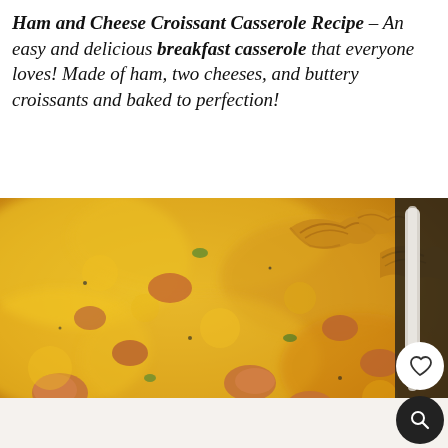Ham and Cheese Croissant Casserole Recipe – An easy and delicious breakfast casserole that everyone loves! Made of ham, two cheeses, and buttery croissants and baked to perfection!
[Figure (photo): Close-up overhead photo of a ham and cheese croissant casserole baked in a white baking dish, showing melted golden-orange cheddar cheese over chunks of ham and torn croissant pieces.]